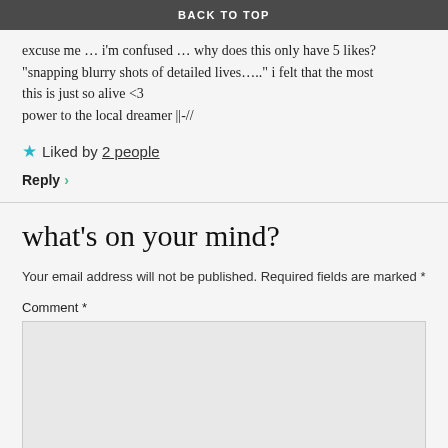BACK TO TOP
excuse me … i'm confused … why does this only have 5 likes?
“snapping blurry shots of detailed lives…..” i felt that the most
this is just so alive <3
power to the local dreamer ||-//
★ Liked by 2 people
Reply ›
what's on your mind?
Your email address will not be published. Required fields are marked *
Comment *